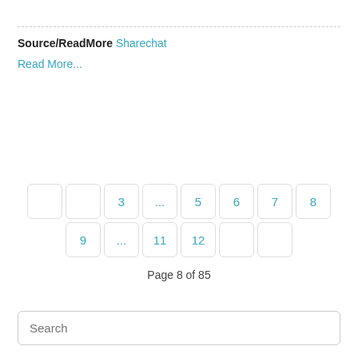Source/ReadMore Sharechat
Read More...
Page 8 of 85
Search